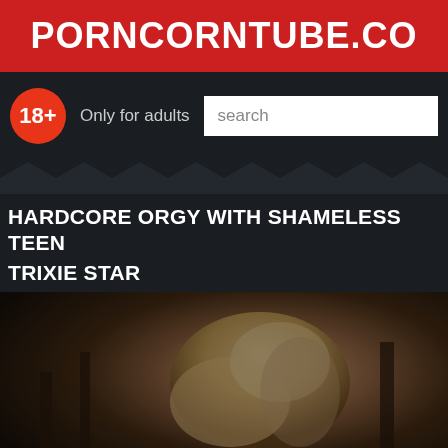PORNCORNTUBE.CO
18+  Only for adults
search
HARDCORE ORGY WITH SHAMELESS TEEN TRIXIE STAR
[Figure (photo): Video thumbnail showing a blurred figure with blonde hair in a dark setting]